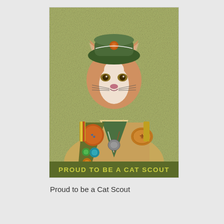[Figure (photo): A cat's head photoshopped onto a Boy Scout's uniformed body. The cat wears a green scout garrison cap with an orange badge, and the scout uniform includes a khaki shirt, green sash with merit badges (orange round badge, smaller teal and green badges, purple badge, orange gear-shaped badge), a green neckerchief with a bolo slide, and a Boy Scouts fleur-de-lis patch on the right chest. The background is a mottled olive-green texture. A banner at the bottom reads 'PROUD TO BE A CAT SCOUT' in yellow-green capital letters on a dark olive background.]
Proud to be a Cat Scout